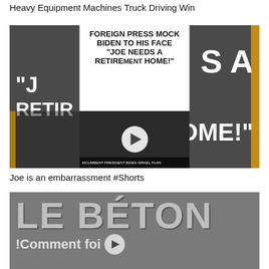Heavy Equipment Machines Truck Driving Win
[Figure (screenshot): Video thumbnail composite showing text 'FOREIGN PRESS MOCK BIDEN TO HIS FACE "JOE NEEDS A RETIREMENT HOME!"' with a video player overlay on an image of Biden, flanked by dark panels with bold text fragments 'JO...SA' and 'RETIR...OME!']
Joe is an embarrassment #Shorts
[Figure (screenshot): Video thumbnail showing bold text 'LE BÉTON' in large grey letters on a concrete/stone texture background, with partial text '!Comment fai' and a play button icon below]